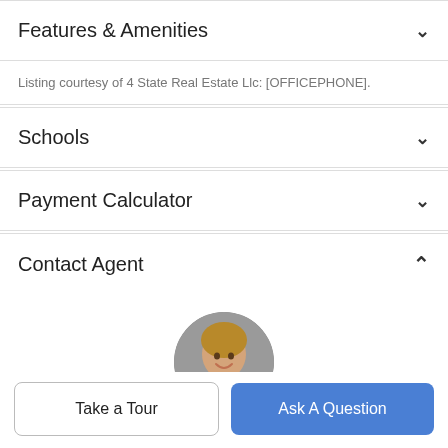Features & Amenities
Listing courtesy of 4 State Real Estate Llc: [OFFICEPHONE].
Schools
Payment Calculator
Contact Agent
[Figure (photo): Circular portrait photo of agent Helena Talbot]
Helena Talbot
Take a Tour
Ask A Question